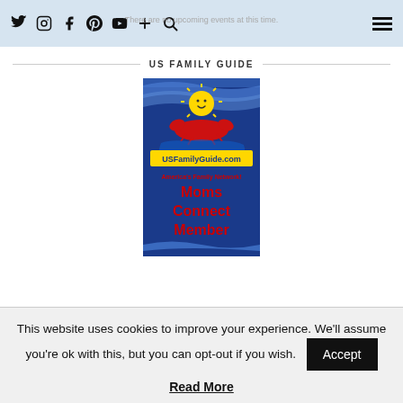Twitter Instagram Facebook Pinterest YouTube + Search | hamburger menu
There are no upcoming events at this time.
US FAMILY GUIDE
[Figure (logo): US Family Guide badge: cartoon sun with smiley face over a red lobster on a blue USA map shape, 'USFamilyGuide.com' banner, 'America's Family Network!' subtitle, 'Moms Connect Member' in large red bold text, blue swoosh at bottom]
This website uses cookies to improve your experience. We'll assume you're ok with this, but you can opt-out if you wish.
Accept
Read More